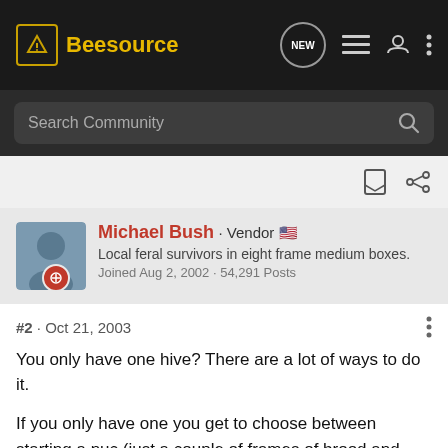Beesource
Search Community
Michael Bush · Vendor
Local feral survivors in eight frame medium boxes.
Joined Aug 2, 2002 · 54,291 Posts
#2 · Oct 21, 2003
You only have one hive? There are a lot of ways to do it.
If you only have one you get to choose between starting a nuc (just a couple of frames of brood and some honey and pollen) or an actual even split where you put half in one hive and half in the other. You also get to choose to let them raise a queen or buy one. If you go for the nuc, I'd let them raise one so you can